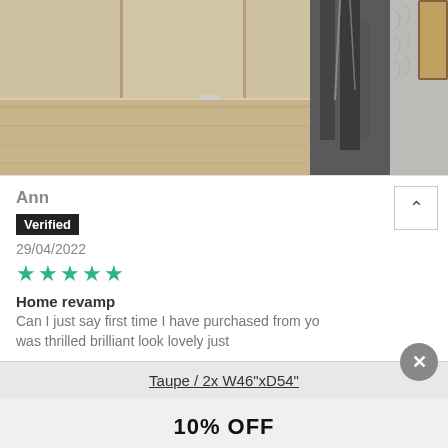[Figure (photo): A room interior photo showing a wardrobe/cabinet with wooden flooring, dark curtains hanging on a rack, and a mirror partially visible on the right side.]
Ann
Verified
29/04/2022
★★★★★
Home revamp
Can I just say first time I have purchased from yo was thrilled brilliant look lovely just
Taupe / 2x W46"xD54"
10% OFF
SAVE NOW!